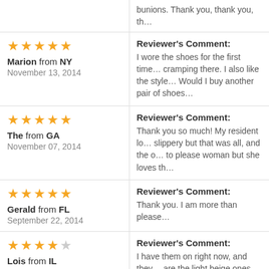| Reviewer | Comment |
| --- | --- |
| (partial) bunions. Thank you, thank you, th... |  |
| Marion from NY
November 13, 2014
★★★★★ | Reviewer's Comment:
I wore the shoes for the first time... cramping there. I also like the style... Would I buy another pair of shoes... |
| The from GA
November 07, 2014
★★★★★ | Reviewer's Comment:
Thank you so much! My resident lo... slippery but that was all, and the o... to please woman but she loves th... |
| Gerald from FL
September 22, 2014
★★★★★ | Reviewer's Comment:
Thank you. I am more than please... |
| Lois from IL
August 04, 2014
★★★★☆ | Reviewer's Comment:
I have them on right now, and they... are the light beige ones. |
| Larry from NC
★★★★★ | Reviewer's Comment:
No comment submitted by review... |